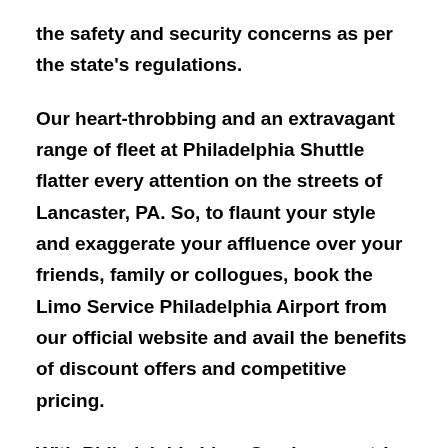the safety and security concerns as per the state's regulations.
Our heart-throbbing and an extravagant range of fleet at Philadelphia Shuttle flatter every attention on the streets of Lancaster, PA. So, to flaunt your style and exaggerate your affluence over your friends, family or collogues, book the Limo Service Philadelphia Airport from our official website and avail the benefits of discount offers and competitive pricing.
With Philadelphia Limo Service, we strive to maintain punctuality and timely transport as a primary concern. When it comes to airport transfers, no one can beat Philadelphia Shuttle services for